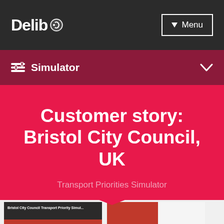Delib — Menu
Simulator
Customer story: Bristol City Council, UK
Transport Priorities Simulator
[Figure (screenshot): Two screenshot thumbnails of the Bristol City Council Transport Priorities Simulator interface]